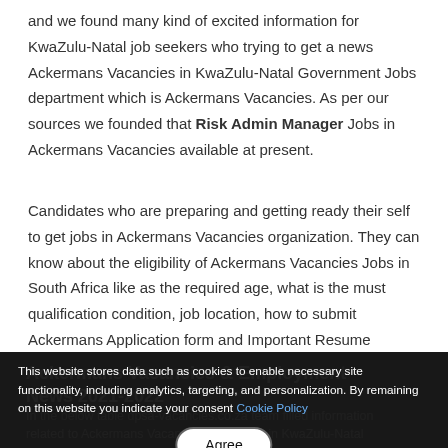and we found many kind of excited information for KwaZulu-Natal job seekers who trying to get a news Ackermans Vacancies in KwaZulu-Natal Government Jobs department which is Ackermans Vacancies. As per our sources we founded that Risk Admin Manager Jobs in Ackermans Vacancies available at present.
Candidates who are preparing and getting ready their self to get jobs in Ackermans Vacancies organization. They can know about the eligibility of Ackermans Vacancies Jobs in South Africa like as the required age, what is the must qualification condition, job location, how to submit Ackermans Application form and Important Resume submitting/applying link in the part of below in this post.
Ackermans Vacancies & Employment News 2021-2022
In the below table dpsa-vacancies.co.za team filled information related to Ackermans Vacancies 2021 Jobs in KwaZulu-Natal
This website stores data such as cookies to enable necessary site functionality, including analytics, targeting, and personalization. By remaining on this website you indicate your consent Cookie Policy